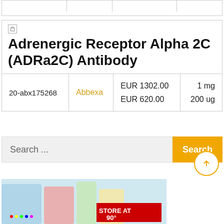|  |  |  |  |
| --- | --- | --- | --- |
|  |  |  |  |
Adrenergic Receptor Alpha 2C (ADRa2C) Antibody
|  |  |  |  |
| --- | --- | --- | --- |
| 20-abx175268 | Abbexa | EUR 1302.00
EUR 620.00 | 1 mg
200 ug |
Search ...
[Figure (photo): Laboratory reagent bottles and products, one labeled STORE AT with partially visible text showing temperature]